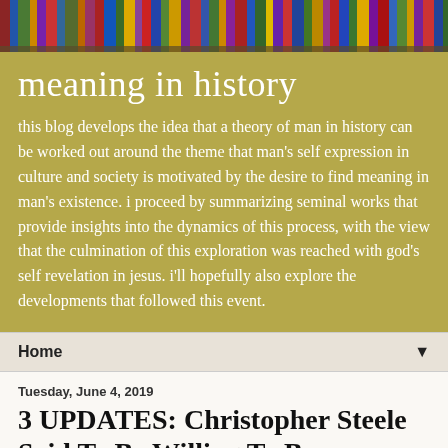[Figure (photo): Header image showing colorful book spines on a shelf]
meaning in history
this blog develops the idea that a theory of man in history can be worked out around the theme that man's self expression in culture and society is motivated by the desire to find meaning in man's existence. i proceed by summarizing seminal works that provide insights into the dynamics of this process, with the view that the culmination of this exploration was reached with god's self revelation in jesus. i'll hopefully also explore the developments that followed this event.
Home ▼
Tuesday, June 4, 2019
3 UPDATES: Christopher Steele Said To Be Willing To Be Interviewed By OIG
The Times of London is reporting that Chris Steele, of Steele